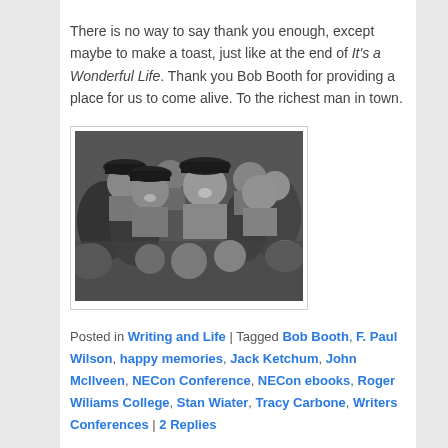There is no way to say thank you enough, except maybe to make a toast, just like at the end of It's a Wonderful Life. Thank you Bob Booth for providing a place for us to come alive. To the richest man in town.
[Figure (photo): Black and white photograph of a crowd of people smiling and celebrating, appearing to be a still from 'It's a Wonderful Life']
Posted in Writing and Life | Tagged Bob Booth, F. Paul Wilson, happy memories, Jack Ketchum, John McIlveen, NECon Conference, NECon ebooks, Roger Wiliams College, Stan Wiater, Tracy Carbone, Writers Conferences | 2 Replies
SEARCH